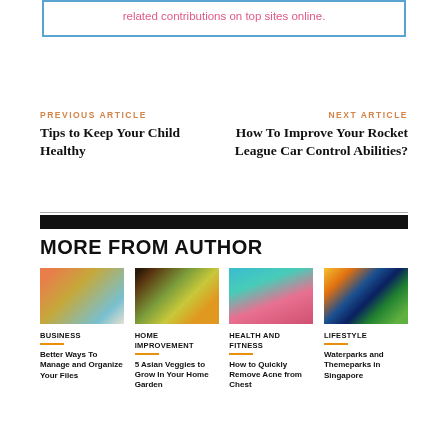related contributions on top sites online.
PREVIOUS ARTICLE
Tips to Keep Your Child Healthy
NEXT ARTICLE
How To Improve Your Rocket League Car Control Abilities?
MORE FROM AUTHOR
[Figure (photo): Hands sorting colorful files/folders — Business category image]
BUSINESS
Better Ways To Manage and Organize Your Files
[Figure (photo): Bowl of Asian vegetables/food — Home Improvement category image]
HOME IMPROVEMENT
5 Asian Veggies to Grow In Your Home Garden
[Figure (photo): Close-up of woman's skin — Health and Fitness category image]
HEALTH AND FITNESS
How to Quickly Remove Acne from Chest
[Figure (photo): Hot air balloon over trees — Lifestyle category image]
LIFESTYLE
Waterparks and Themeparks in Singapore